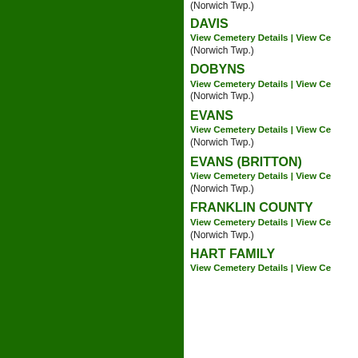(Norwich Twp.)
DAVIS
View Cemetery Details | View Ce
(Norwich Twp.)
DOBYNS
View Cemetery Details | View Ce
(Norwich Twp.)
EVANS
View Cemetery Details | View Ce
(Norwich Twp.)
EVANS (BRITTON)
View Cemetery Details | View Ce
(Norwich Twp.)
FRANKLIN COUNTY
View Cemetery Details | View Ce
(Norwich Twp.)
HART FAMILY
View Cemetery Details | View Ce